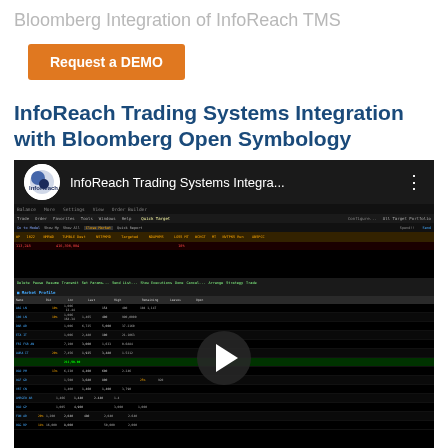Bloomberg Integration of InfoReach TMS
Request a DEMO
InfoReach Trading Systems Integration with Bloomberg Open Symbology
[Figure (screenshot): YouTube-style embedded video showing InfoReach Trading Systems Integration with Bloomberg Open Symbology. The video thumbnail shows a Bloomberg TMS trading screen with rows of securities data, order blotter, and market data. A play button is overlaid in the center.]